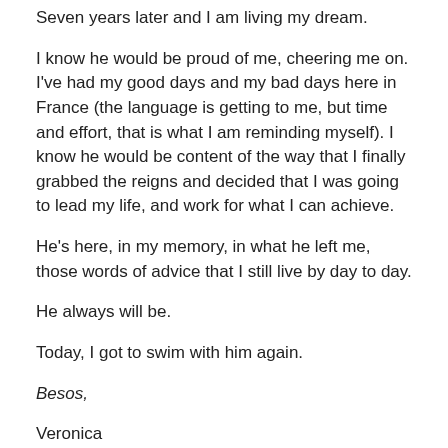Seven years later and I am living my dream.
I know he would be proud of me, cheering me on. I've had my good days and my bad days here in France (the language is getting to me, but time and effort, that is what I am reminding myself). I know he would be content of the way that I finally grabbed the reigns and decided that I was going to lead my life, and work for what I can achieve.
He's here, in my memory, in what he left me, those words of advice that I still live by day to day.
He always will be.
Today, I got to swim with him again.
Besos,
Veronica